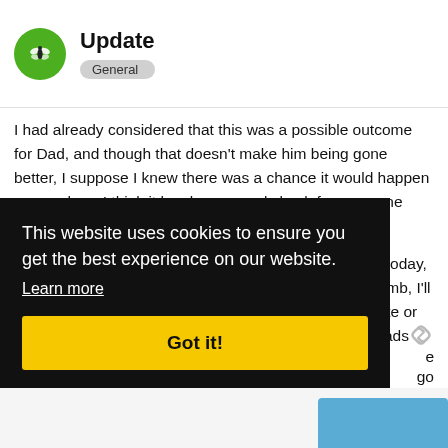Update — General
I had already considered that this was a possible outcome for Dad, and though that doesn't make him being gone better, I suppose I knew there was a chance it would happen soon, where I think it has been a real shock for everyone else.
I just feel so fortunate I've got all the options available today, and thanks so much for the heads up on the studies lamb, I'll keep track of those whether I get a chance to participate or not – I've got my fingers crossed my little girl got her dads [text obscured] go
This website uses cookies to ensure you get the best experience on our website.
Learn more
Got it!